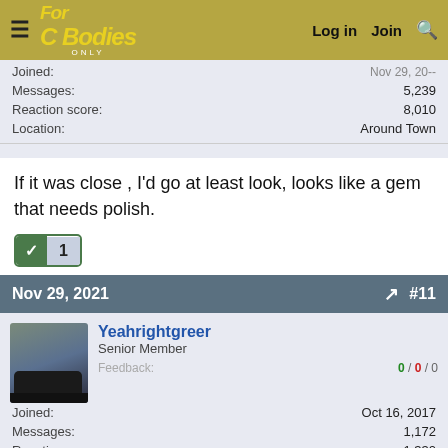For C Bodies Only | Log in  Join  Search
| Field | Value |
| --- | --- |
| Messages: | 5,239 |
| Reaction score: | 8,010 |
| Location: | Around Town |
If it was close , I'd go at least look, looks like a gem that needs polish.
✓ 1
Nov 29, 2021  #11
Yeahrightgreer
Senior Member
Feedback:  0 / 0 / 0
Joined:  Oct 16, 2017
Messages:  1,172
Reaction score:  1,330
Location:  Camp Lejeune, NC
So I wonder what happens if they don't sell in a week for 9,000